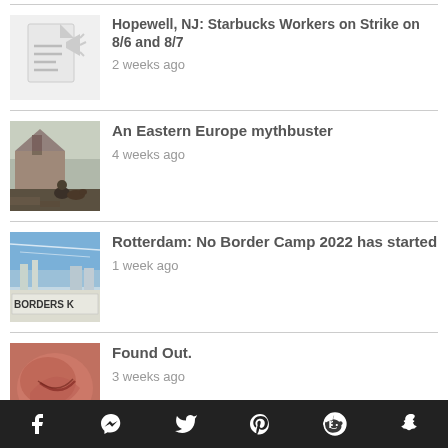Hopewell, NJ: Starbucks Workers on Strike on 8/6 and 8/7 — 2 weeks ago
An Eastern Europe mythbuster — 4 weeks ago
Rotterdam: No Border Camp 2022 has started — 1 week ago
Found Out. — 3 weeks ago
Facebook, Messenger, Twitter, Pinterest, Reddit, Snapchat